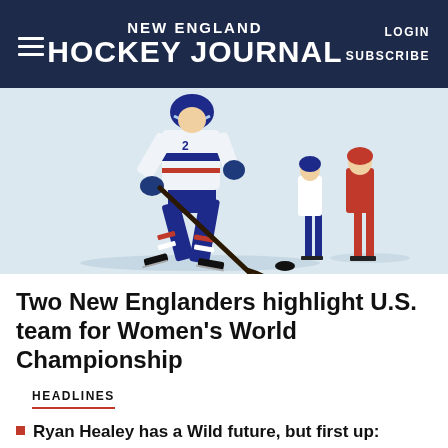NEW ENGLAND HOCKEY JOURNAL | LOGIN | SUBSCRIBE
[Figure (photo): Ice hockey player in USA uniform (white, blue, red) handling a puck on ice, with other players visible in the background including a player in red uniform]
Two New Englanders highlight U.S. team for Women's World Championship
HEADLINES
Ryan Healey has a Wild future, but first up: